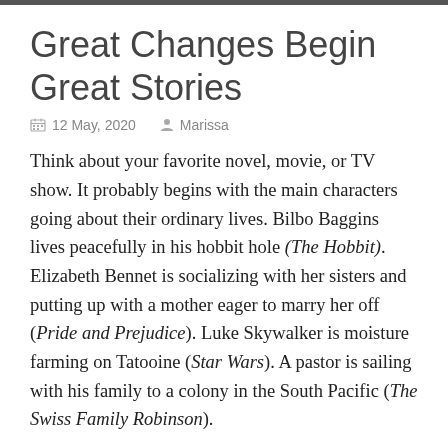Great Changes Begin Great Stories
12 May, 2020   Marissa
Think about your favorite novel, movie, or TV show. It probably begins with the main characters going about their ordinary lives. Bilbo Baggins lives peacefully in his hobbit hole (The Hobbit). Elizabeth Bennet is socializing with her sisters and putting up with a mother eager to marry her off (Pride and Prejudice). Luke Skywalker is moisture farming on Tatooine (Star Wars). A pastor is sailing with his family to a colony in the South Pacific (The Swiss Family Robinson).